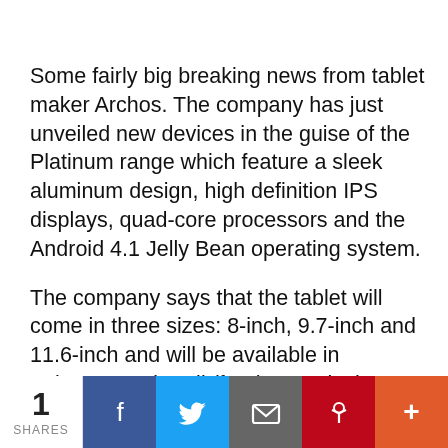Some fairly big breaking news from tablet maker Archos. The company has just unveiled new devices in the guise of the Platinum range which feature a sleek aluminum design, high definition IPS displays, quad-core processors and the Android 4.1 Jelly Bean operating system.
The company says that the tablet will come in three sizes: 8-inch, 9.7-inch and 11.6-inch and will be available in February and April (for the 11.6inch tablet). The 11.6inch breaks new ground in that it is significantly bigger than
We use cookies on our website to give you the most relevant
Privacy & Cookies: This site uses cookies. By continuing to use this website, you agree to their use.
To find out more, including how to control cookies, see here: Cookie Policy
1 SHARES